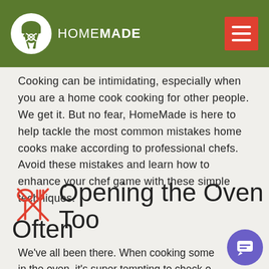HOMEMADE
Cooking can be intimidating, especially when you are a home cook cooking for other people. We get it. But no fear, HomeMade is here to help tackle the most common mistakes home cooks make according to professional chefs. Avoid these mistakes and learn how to enhance your chef game with these simple techniques.
Opening the Oven Too Often
We've all been there. When cooking something in the oven, it's super tempting to check on it by opening the oven door once or twice. But